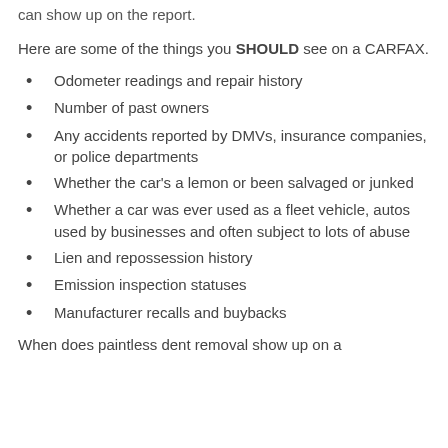can show up on the report.
Here are some of the things you SHOULD see on a CARFAX.
Odometer readings and repair history
Number of past owners
Any accidents reported by DMVs, insurance companies, or police departments
Whether the car's a lemon or been salvaged or junked
Whether a car was ever used as a fleet vehicle, autos used by businesses and often subject to lots of abuse
Lien and repossession history
Emission inspection statuses
Manufacturer recalls and buybacks
When does paintless dent removal show up on a